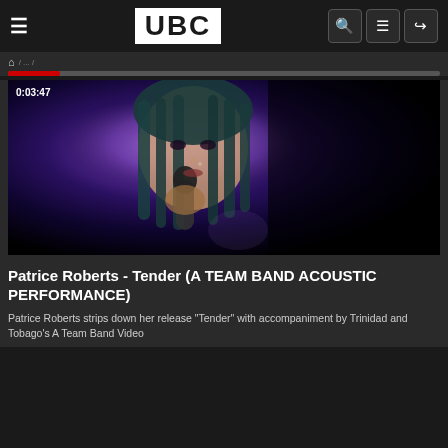UBC
[Figure (screenshot): Video thumbnail showing a Black woman with long braided hair singing into a microphone on a dark stage lit with purple lighting. Timestamp 0:03:47 shown in top left corner.]
Patrice Roberts - Tender (A TEAM BAND ACOUSTIC PERFORMANCE)
Patrice Roberts strips down her release "Tender" with accompaniment by Trinidad and Tobago's A Team Band Video